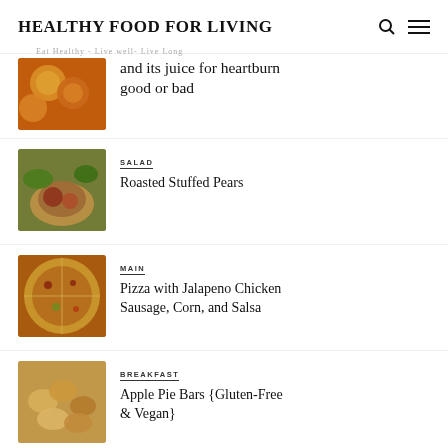HEALTHY FOOD FOR LIVING
Eat Healthy - Live well- Live Long
[Figure (photo): Oranges and citrus fruits on a cutting board]
and its juice for heartburn good or bad
[Figure (photo): Roasted stuffed pears on a plate with salad greens]
SALAD
Roasted Stuffed Pears
[Figure (photo): Pizza with jalapeno chicken sausage toppings, sliced]
MAIN
Pizza with Jalapeno Chicken Sausage, Corn, and Salsa
[Figure (photo): Apple pie bars with crumble topping]
BREAKFAST
Apple Pie Bars {Gluten-Free & Vegan}